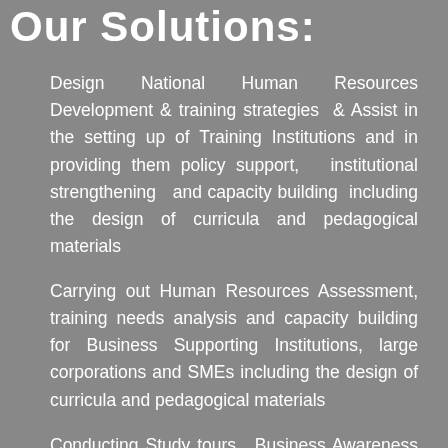Our Solutions:
Design National Human Resources Development & training strategies & Assist in the setting up of Training Institutions and in providing them policy support, institutional strengthening and capacity building including the design of curricula and pedagogical materials
Carrying out Human Resources Assessment, training needs analysis and capacity building for Business Supporting Institutions, large corporations and SMEs including the design of curricula and pedagogical materials
Conducting Study tours, Business Awareness Meetings and training events for High level